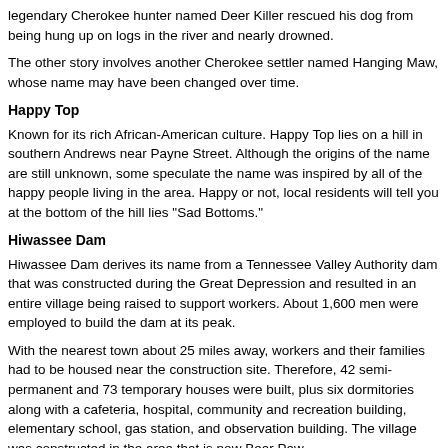legendary Cherokee hunter named Deer Killer rescued his dog from being hung up on logs in the river and nearly drowned.
The other story involves another Cherokee settler named Hanging Maw, whose name may have been changed over time.
Happy Top
Known for its rich African-American culture. Happy Top lies on a hill in southern Andrews near Payne Street. Although the origins of the name are still unknown, some speculate the name was inspired by all of the happy people living in the area. Happy or not, local residents will tell you at the bottom of the hill lies "Sad Bottoms."
Hiwassee Dam
Hiwassee Dam derives its name from a Tennessee Valley Authority dam that was constructed during the Great Depression and resulted in an entire village being raised to support workers. About 1,600 men were employed to build the dam at its peak.
With the nearest town about 25 miles away, workers and their families had to be housed near the construction site. Therefore, 42 semi-permanent and 73 temporary houses were built, plus six dormitories along with a cafeteria, hospital, community and recreation building, elementary school, gas station, and observation building. The village was constructed in the area that is now Bear Paw.
In July 1940, Thi...